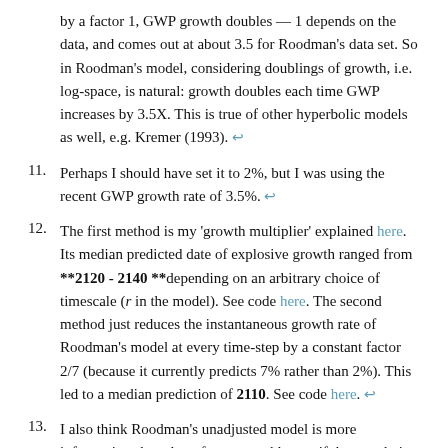(continuation) by a factor 1, GWP growth doubles — 1 depends on the data, and comes out at about 3.5 for Roodman's data set. So in Roodman's model, considering doublings of growth, i.e. log-space, is natural: growth doubles each time GWP increases by 3.5X. This is true of other hyperbolic models as well, e.g. Kremer (1993). ↩
11. Perhaps I should have set it to 2%, but I was using the recent GWP growth rate of 3.5%. ↩
12. The first method is my 'growth multiplier' explained here. Its median predicted date of explosive growth ranged from **2120 - 2140 **depending on an arbitrary choice of timescale (r in the model). See code here. The second method just reduces the instantaneous growth rate of Roodman's model at every time-step by a constant factor 2/7 (because it currently predicts 7% rather than 2%). This led to a median prediction of 2110. See code here. ↩
13. I also think Roodman's unadjusted model is more informative about how fast we could grow if the population were as large as our economy could support (Malthusian conditions). ↩
14. Of course, Roodman's parameters will also implicitly include other mechanisms influencing growth like the massive increase in the share of labour focussed on innovation, improvements in